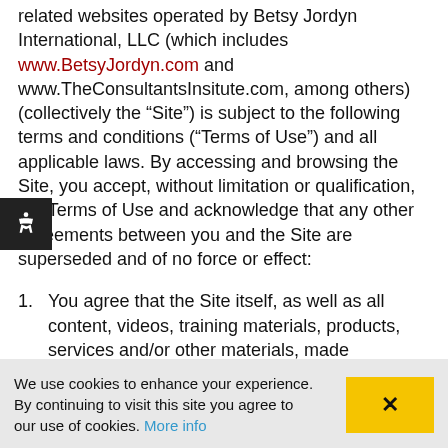related websites operated by Betsy Jordyn International, LLC (which includes www.BetsyJordyn.com and www.TheConsultantsInsitute.com, among others) (collectively the “Site”) is subject to the following terms and conditions (“Terms of Use”) and all applicable laws. By accessing and browsing the Site, you accept, without limitation or qualification, the Terms of Use and acknowledge that any other agreements between you and the Site are superseded and of no force or effect:
You agree that the Site itself, as well as all content, videos, training materials, products, services and/or other materials, made
We use cookies to enhance your experience. By continuing to visit this site you agree to our use of cookies. More info